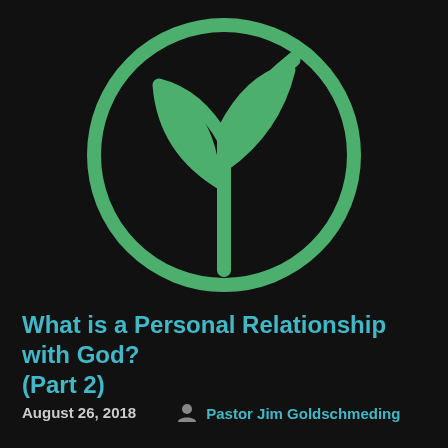[Figure (logo): Green plant/leaf icon inside a circle outline on a dark background. The icon shows a stylized plant with two leaves and a stem inside a circular border, all rendered in green on black.]
What is a Personal Relationship with God? (Part 2)
August 26, 2018   Pastor Jim Goldschmeding